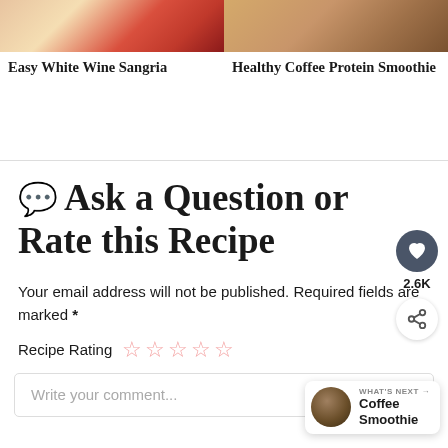[Figure (photo): Food photo showing a dessert with strawberries on top, partial view]
Easy White Wine Sangria
[Figure (photo): Food photo showing a coffee smoothie drink, partial view]
Healthy Coffee Protein Smoothie
💬 Ask a Question or Rate this Recipe
Your email address will not be published. Required fields are marked *
Recipe Rating ☆☆☆☆☆
Write your comment...